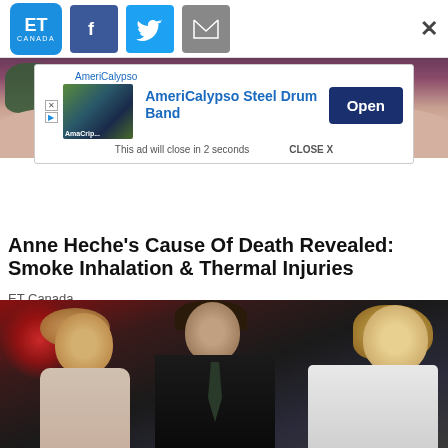ET Canada | Facebook | Twitter | Email
[Figure (screenshot): Advertisement banner: AmeriCalypso Steel Drum Band with Open button]
[Figure (photo): Partial photo showing a person's bare shoulders and neck against a dark background]
Anne Heche’s Cause Of Death Revealed: Smoke Inhalation & Thermal Injuries
ET Canada
[Figure (photo): Photo of three people at an event: a woman with curly blonde hair on the left, a man in a dark suit in the center, and a blonde woman in white on the right]